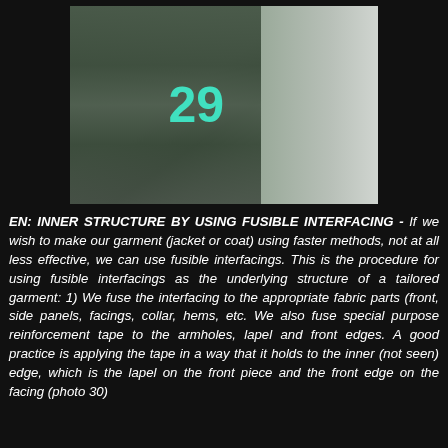[Figure (photo): Photo of a dark green tailored jacket/garment on a dress form/mannequin, with the number 29 overlaid in teal/turquoise text]
EN: INNER STRUCTURE BY USING FUSIBLE INTERFACING - If we wish to make our garment (jacket or coat) using faster methods, not at all less effective, we can use fusible interfacings. This is the procedure for using fusible interfacings as the underlying structure of a tailored garment: 1) We fuse the interfacing to the appropriate fabric parts (front, side panels, facings, collar, hems, etc. We also fuse special purpose reinforcement tape to the armholes, lapel and front edges. A good practice is applying the tape in a way that it holds to the inner (not seen) edge, which is the lapel on the front piece and the front edge on the facing (photo 30)